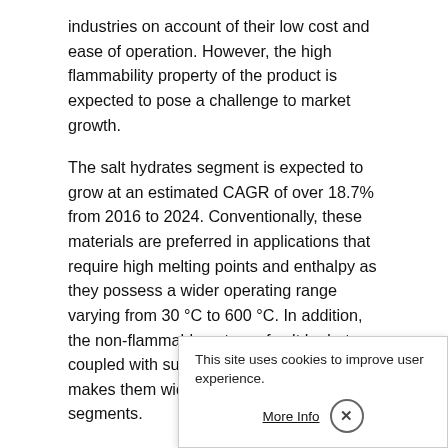industries on account of their low cost and ease of operation. However, the high flammability property of the product is expected to pose a challenge to market growth.
The salt hydrates segment is expected to grow at an estimated CAGR of over 18.7% from 2016 to 2024. Conventionally, these materials are preferred in applications that require high melting points and enthalpy as they possess a wider operating range varying from 30 °C to 600 °C. In addition, the non-flammable nature of salt hydrates coupled with superior thermal conductivity makes them widely accepted product segments.
The growing popularity of bio-based phase change materials on account of superior recycling properties without material degradation coupled with higher melting points & better encapsulation is expected to augment product demand over the projected period. In addition, advanced phase change materials are projected to grow at the fastest rate on account of properties including